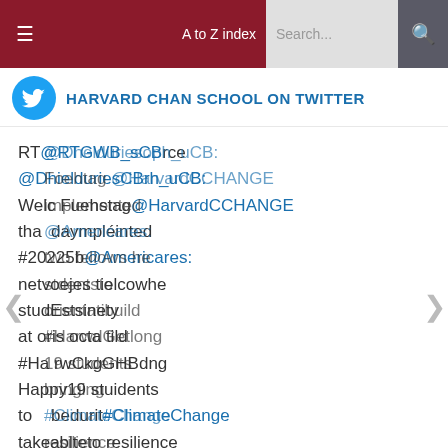≡  A to Z index  Search...  🔍
HARVARD CHAN SCHOOL ON TWITTER
RT @RTGWB_sCB rce @DhielduriesCBrh uCB: Welc Fuehstag @HarvardCCHANGE tha daypleinted #20225b to @Americares: netvoejes tielcow he studetsinety at or is octa ti child #Ha rwCkgGHBdng Happy 19 stuidents to beduriti#ClimateChange takeablteto resilience part to earchmpus
@Dhelduriesoph_uCB: Foehtag @HarvardCCHANGE implemented @Americares: two fellows stdents orientatibuild #HarwdGetbong 19 students bringing #ClimateChange resilience campus